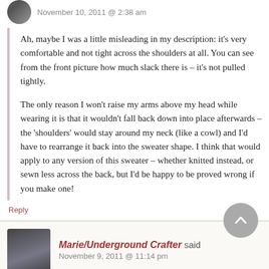November 10, 2011 @ 2:38 am
Ah, maybe I was a little misleading in my description: it's very comfortable and not tight across the shoulders at all. You can see from the front picture how much slack there is – it's not pulled tightly.

The only reason I won't raise my arms above my head while wearing it is that it wouldn't fall back down into place afterwards – the 'shoulders' would stay around my neck (like a cowl) and I'd have to rearrange it back into the sweater shape. I think that would apply to any version of this sweater – whether knitted instead, or sewn less across the back, but I'd be happy to be proved wrong if you make one!
Reply
Marie/Underground Crafter said
November 9, 2011 @ 11:14 pm
Looks fun and fast – a perfect holiday gift, perhaps?
Reply